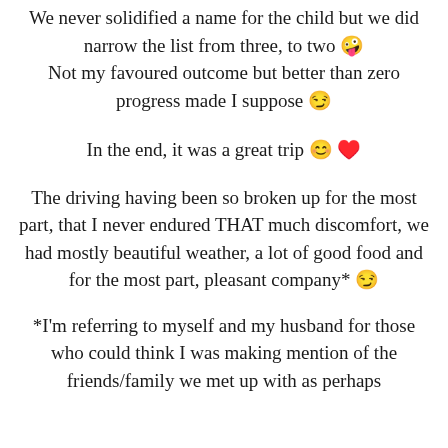We never solidified a name for the child but we did narrow the list from three, to two 🤪 Not my favoured outcome but better than zero progress made I suppose 😏
In the end, it was a great trip 😊 ❤
The driving having been so broken up for the most part, that I never endured THAT much discomfort, we had mostly beautiful weather, a lot of good food and for the most part, pleasant company* 😏
*I'm referring to myself and my husband for those who could think I was making mention of the friends/family we met up with as perhaps